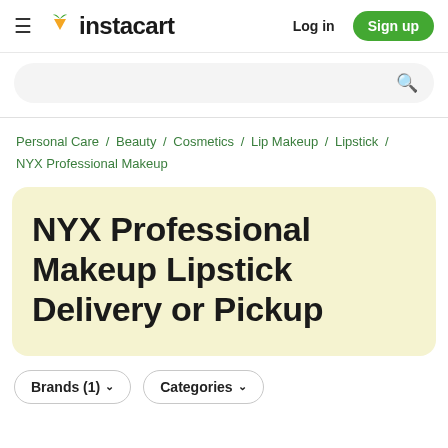Instacart — Log in / Sign up
Personal Care / Beauty / Cosmetics / Lip Makeup / Lipstick / NYX Professional Makeup
NYX Professional Makeup Lipstick Delivery or Pickup
Brands (1)  Categories